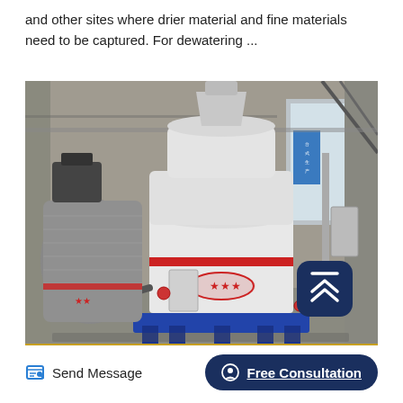and other sites where drier material and fine materials need to be captured. For dewatering ...
[Figure (photo): Industrial grinding mill machine (Raymond mill) in a factory setting. A large white cylindrical grinding mill with a red band and red star logo sits on a blue platform base. To its left is a wrapped/covered machine. The factory interior shows concrete pillars, windows letting in light, piping, and support structures. A dark navy scroll-to-top button with a chevron icon is overlaid in the lower-right of the image.]
Send Message
Free Consultation